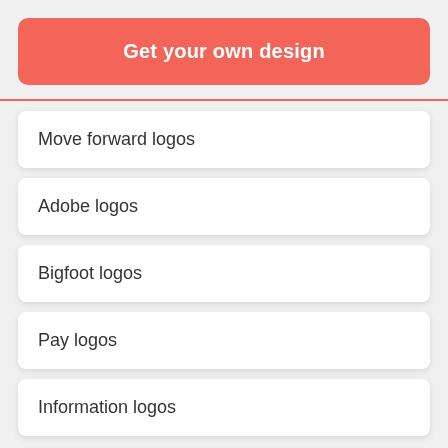Get your own design
Move forward logos
Adobe logos
Bigfoot logos
Pay logos
Information logos